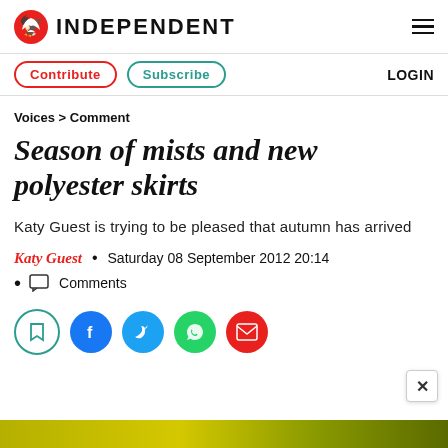INDEPENDENT
Contribute  Subscribe  LOGIN
Voices > Comment
Season of mists and new polyester skirts
Katy Guest is trying to be pleased that autumn has arrived
Katy Guest  •  Saturday 08 September 2012 20:14
Comments
[Figure (other): Social sharing buttons: bookmark, Facebook, Twitter, WhatsApp, email]